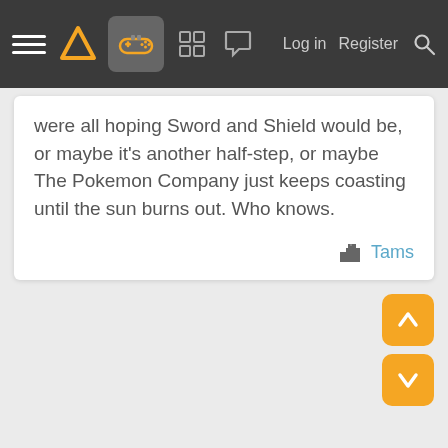Navigation bar with hamburger menu, logo, controller icon, grid icon, chat icon, Log in, Register, Search
were all hoping Sword and Shield would be, or maybe it's another half-step, or maybe The Pokemon Company just keeps coasting until the sun burns out. Who knows.
Tams
[Figure (other): Orange up-arrow scroll button and orange down-arrow scroll button in bottom-right corner]